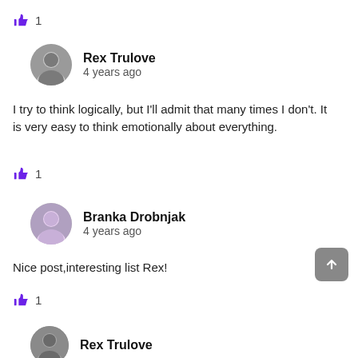👍 1
Rex Trulove
4 years ago
I try to think logically, but I'll admit that many times I don't. It is very easy to think emotionally about everything.
👍 1
Branka Drobnjak
4 years ago
Nice post,interesting list Rex!
👍 1
Rex Trulove